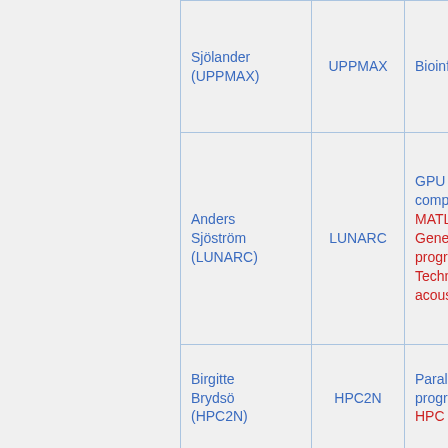| Name | Site | Specialization |
| --- | --- | --- |
| Sjölander (UPPMAX) | UPPMAX | Bioinformatics |
| Anders Sjöström (LUNARC) | LUNARC | GPU computing
MATLAB
General programming
Technical acoustics |
| Birgitte Brydsö (HPC2N) | HPC2N | Parallel programming
HPC |
| Björn Claremar (UPPMAX) | UPPMAX | Meteorology, Geoscience |
|  |  |  |